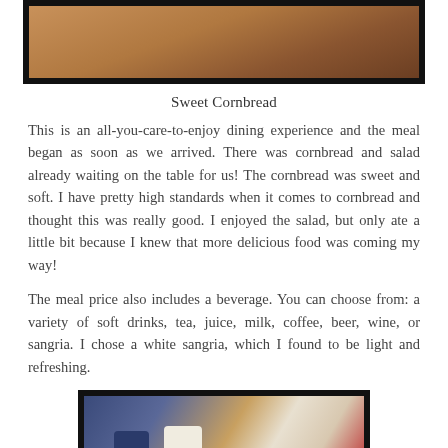[Figure (photo): Photo of sweet cornbread, close-up warm brownish tones with dark border frame]
Sweet Cornbread
This is an all-you-care-to-enjoy dining experience and the meal began as soon as we arrived. There was cornbread and salad already waiting on the table for us! The cornbread was sweet and soft. I have pretty high standards when it comes to cornbread and thought this was really good. I enjoyed the salad, but only ate a little bit because I knew that more delicious food was coming my way!
The meal price also includes a beverage. You can choose from: a variety of soft drinks, tea, juice, milk, coffee, beer, wine, or sangria. I chose a white sangria, which I found to be light and refreshing.
[Figure (photo): Photo of restaurant interior with people, warm ambiance, dark border frame]